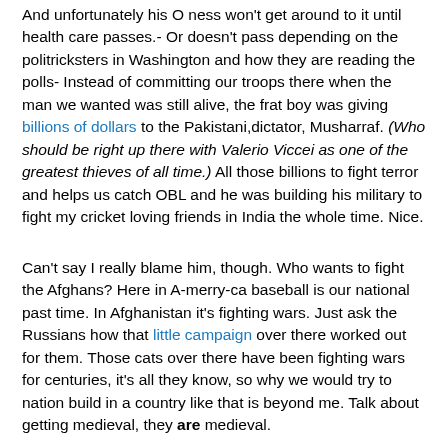And unfortunately his O ness won't get around to it until health care passes.- Or doesn't pass depending on the politricksters in Washington and how they are reading the polls- Instead of committing our troops there when the man we wanted was still alive, the frat boy was giving billions of dollars to the Pakistani,dictator, Musharraf. (Who should be right up there with Valerio Viccei as one of the greatest thieves of all time.) All those billions to fight terror and helps us catch OBL and he was building his military to fight my cricket loving friends in India the whole time. Nice.
Can't say I really blame him, though. Who wants to fight the Afghans? Here in A-merry-ca baseball is our national past time. In Afghanistan it's fighting wars. Just ask the Russians how that little campaign over there worked out for them. Those cats over there have been fighting wars for centuries, it's all they know, so why we would try to nation build in a country like that is beyond me. Talk about getting medieval, they are medieval.